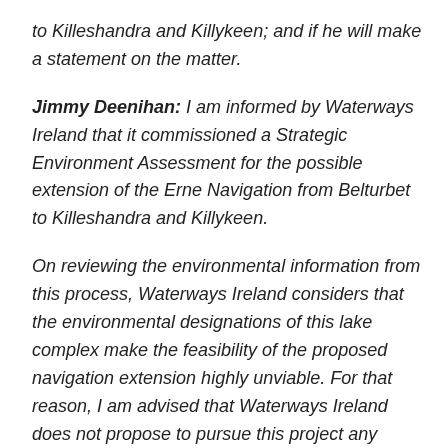to Killeshandra and Killykeen; and if he will make a statement on the matter.
Jimmy Deenihan: I am informed by Waterways Ireland that it commissioned a Strategic Environment Assessment for the possible extension of the Erne Navigation from Belturbet to Killeshandra and Killykeen.
On reviewing the environmental information from this process, Waterways Ireland considers that the environmental designations of this lake complex make the feasibility of the proposed navigation extension highly unviable. For that reason, I am advised that Waterways Ireland does not propose to pursue this project any further at this time.
Well, that's one minor victory for sanity. Here's how a